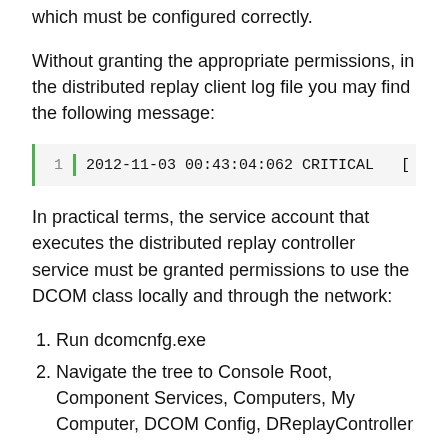which must be configured correctly.
Without granting the appropriate permissions, in the distributed replay client log file you may find the following message:
2012-11-03 00:43:04:062 CRITICAL [
In practical terms, the service account that executes the distributed replay controller service must be granted permissions to use the DCOM class locally and through the network:
Run dcomcnfg.exe
Navigate the tree to Console Root, Component Services, Computers, My Computer, DCOM Config, DReplayController
Right click DReplayController and choose “properties” from the context menu.